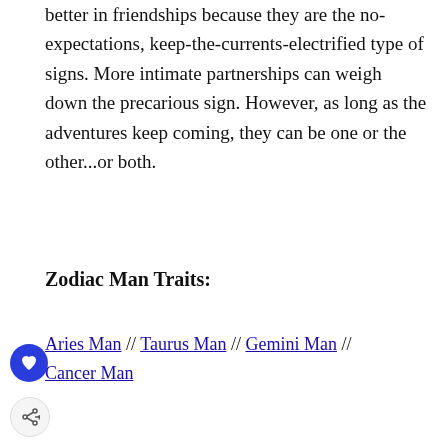better in friendships because they are the no-expectations, keep-the-currents-electrified type of signs. More intimate partnerships can weigh down the precarious sign. However, as long as the adventures keep coming, they can be one or the other...or both.
Zodiac Man Traits:
Aries Man // Taurus Man // Gemini Man // Cancer Man